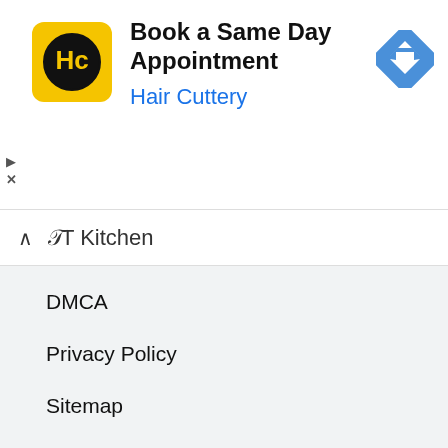[Figure (screenshot): Hair Cuttery advertisement banner with yellow logo showing HC, text 'Book a Same Day Appointment' and 'Hair Cuttery', and a blue diamond navigation arrow icon]
ĤT Kitchen
DMCA
Privacy Policy
Sitemap
Terms of Use
RECENT POSTS
How To Use Liquid Smoke?
How Long To Smoke A Turkey?